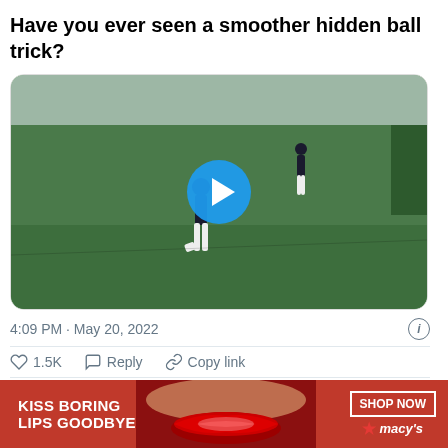Have you ever seen a smoother hidden ball trick?
[Figure (screenshot): Video thumbnail of a baseball player standing on the pitcher's mound on a green field, with a blue play button circle in the center and a 'Watch on Twitter' pill button in the top right corner.]
4:09 PM · May 20, 2022
1.5K  Reply  Copy link
Read 8 replies
[Figure (photo): Advertisement banner for Macy's: 'KISS BORING LIPS GOODBYE' with a close-up photo of a woman's red lips, and a 'SHOP NOW' button with the Macy's star logo on a red background.]